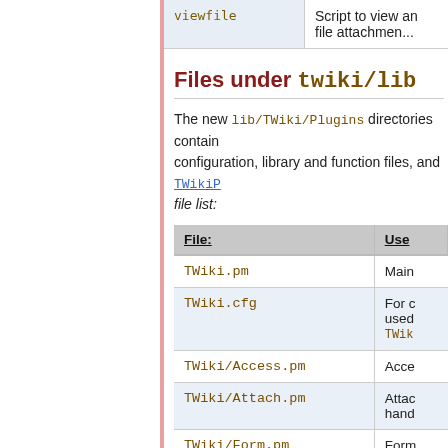| viewfile | Script to view an file attachment... |
| --- | --- |
Files under twiki/lib
The new lib/TWiki/Plugins directories contain... configuration, library and function files, and TWikiP... file list:
| File: | Use... |
| --- | --- |
| TWiki.pm | Main... |
| TWiki.cfg | For c... used... TWik... |
| TWiki/Access.pm | Acce... |
| TWiki/Attach.pm | Attac... hand... |
| TWiki/Form.pm | Form... |